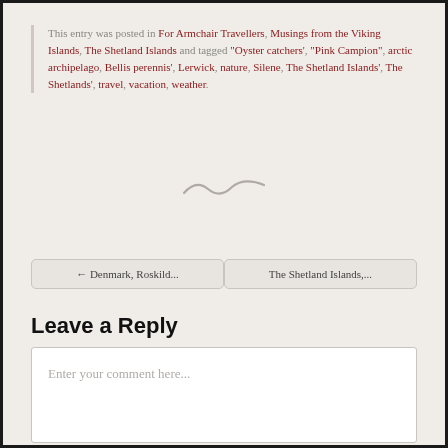This entry was posted in For Armchair Travellers, Musings from the Viking Islands, The Shetland Islands and tagged "Oyster catchers', "Pink Campion", arctic archipelago, Bellis perennis', Lerwick, nature, Silene, The Shetland Islands', The Shetlands', travel, vacation, weather.
[Figure (illustration): Tilde/swung dash decorative divider]
← Denmark, Roskild...
The Shetland Islands,...
Leave a Reply
Enter your comment here...